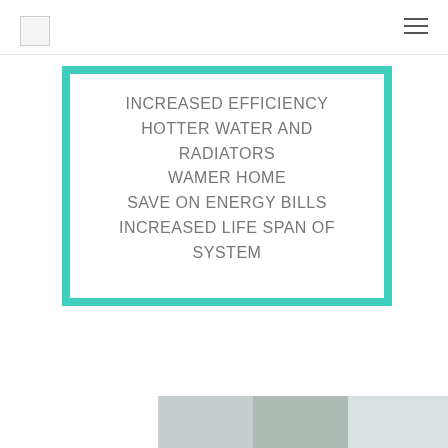INCREASED EFFICIENCY
HOTTER WATER AND RADIATORS
WAMER HOME
SAVE ON ENERGY BILLS
INCREASED LIFE SPAN OF SYSTEM
[Figure (photo): Partial view of a person and a plant at the bottom of the page]